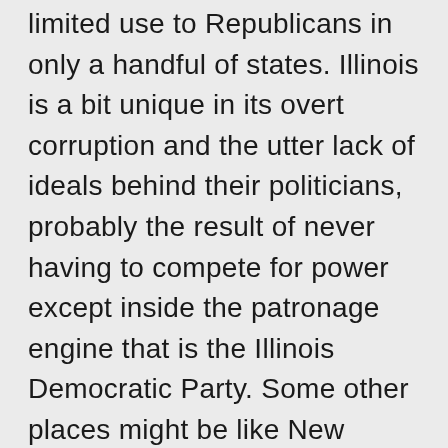limited use to Republicans in only a handful of states. Illinois is a bit unique in its overt corruption and the utter lack of ideals behind their politicians, probably the result of never having to compete for power except inside the patronage engine that is the Illinois Democratic Party. Some other places might be like New Jersey are pretty bad but Illinois is probably the most extreme example of this I don't think challening the model will hurt the Dems as much in other states, even ones that rely on this model to a lesser extent.